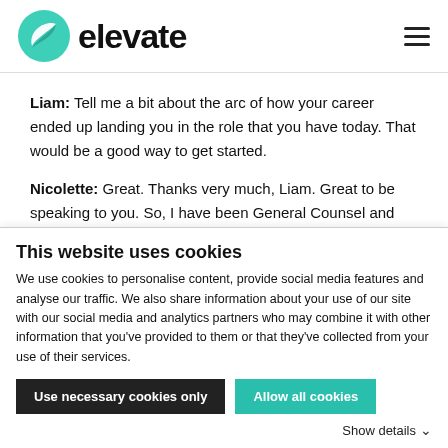[Figure (logo): Elevate logo: green circular icon with leaf/swoosh design and the word 'elevate' in bold black sans-serif text]
Liam: Tell me a bit about the arc of how your career ended up landing you in the role that you have today. That would be a good way to get started.
Nicolette: Great. Thanks very much, Liam. Great to be speaking to you. So, I have been General Counsel and
This website uses cookies
We use cookies to personalise content, provide social media features and analyse our traffic. We also share information about your use of our site with our social media and analytics partners who may combine it with other information that you've provided to them or that they've collected from your use of their services.
Use necessary cookies only
Allow all cookies
Show details